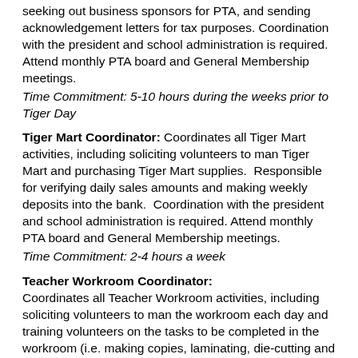seeking out business sponsors for PTA, and sending acknowledgement letters for tax purposes. Coordination with the president and school administration is required.  Attend monthly PTA board and General Membership meetings.
Time Commitment: 5-10 hours during the weeks prior to Tiger Day
Tiger Mart Coordinator: Coordinates all Tiger Mart activities, including soliciting volunteers to man Tiger Mart and purchasing Tiger Mart supplies.  Responsible for verifying daily sales amounts and making weekly deposits into the bank.  Coordination with the president and school administration is required. Attend monthly PTA board and General Membership meetings.
Time Commitment: 2-4 hours a week
Teacher Workroom Coordinator: Coordinates all Teacher Workroom activities, including soliciting volunteers to man the workroom each day and training volunteers on the tasks to be completed in the workroom (i.e. making copies, laminating, die-cutting and other administrative tasks). Coordination with the president and school